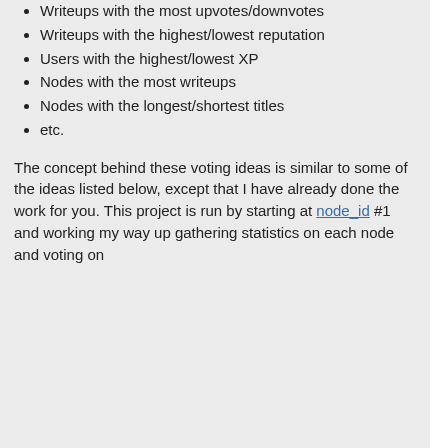Writeups with the most upvotes/downvotes
Writeups with the highest/lowest reputation
Users with the highest/lowest XP
Nodes with the most writeups
Nodes with the longest/shortest titles
etc.
The concept behind these voting ideas is similar to some of the ideas listed below, except that I have already done the work for you. This project is run by starting at node_id #1 and working my way up gathering statistics on each node and voting on